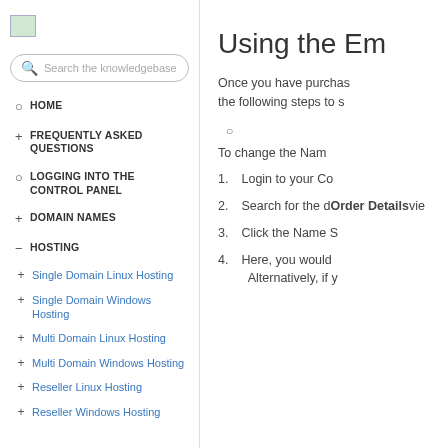[Figure (logo): Small green logo/icon in top left of sidebar]
Search the knowledgebase
HOME
FREQUENTLY ASKED QUESTIONS
LOGGING INTO THE CONTROL PANEL
DOMAIN NAMES
HOSTING
Single Domain Linux Hosting
Single Domain Windows Hosting
Multi Domain Linux Hosting
Multi Domain Windows Hosting
Reseller Linux Hosting
Reseller Windows Hosting
Using the Em
Once you have purchas the following steps to s
To change the Nam
1. Login to your Co
2. Search for the d Order Details vie
3. Click the Name S
4. Here, you would Alternatively, if y